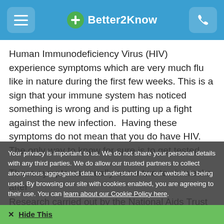Better2Know
Human Immunodeficiency Virus (HIV) experience symptoms which are very much flu like in nature during the first few weeks. This is a sign that your immune system has noticed something is wrong and is putting up a fight against the new infection.  Having these symptoms do not mean that you do have HIV.  The only way to know for sure is to get tested.
These symptoms usually occur two to six weeks after transmission. They can last for a few days to...
Research carried out by the National Aids Trust suggests...
infected with HIV develop these early symptoms.
Your privacy is important to us. We do not share your personal details with any third parties. We do allow our trusted partners to collect anonymous aggregated data to understand how our website is being used. By browsing our site with cookies enabled, you are agreeing to their use. You can learn about our Cookie Policy here.
Hide This